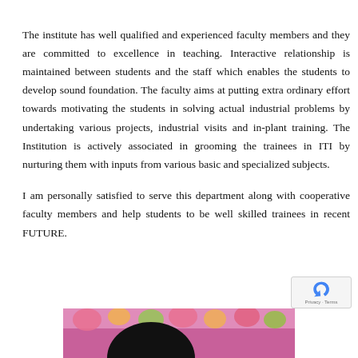The institute has well qualified and experienced faculty members and they are committed to excellence in teaching. Interactive relationship is maintained between students and the staff which enables the students to develop sound foundation. The faculty aims at putting extra ordinary effort towards motivating the students in solving actual industrial problems by undertaking various projects, industrial visits and in-plant training. The Institution is actively associated in grooming the trainees in ITI by nurturing them with inputs from various basic and specialized subjects.
I am personally satisfied to serve this department along with cooperative faculty members and help students to be well skilled trainees in recent FUTURE.
[Figure (photo): Partial photo of a person with flowers visible, shown at bottom of page]